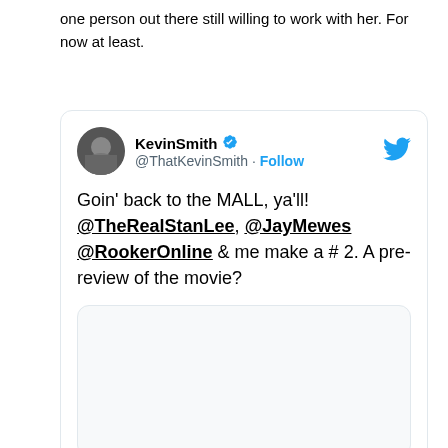one person out there still willing to work with her. For now at least.
[Figure (screenshot): Embedded tweet from @ThatKevinSmith (Kevin Smith, verified) reading: Goin' back to the MALL, ya'll! @TheRealStanLee, @JayMewes @RookerOnline & me make a # 2. A pre-review of the movie? With a nested media preview card below the tweet text.]